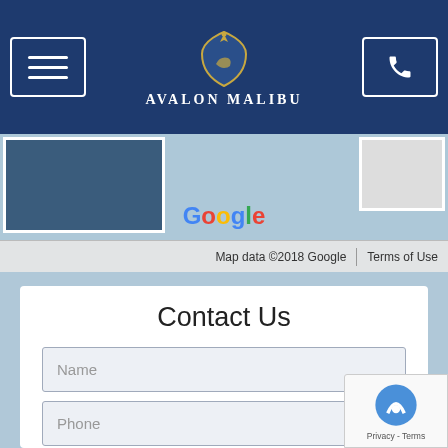[Figure (screenshot): Avalon Malibu website header with hamburger menu icon on left, crest logo and 'Avalon Malibu' text in center, phone button on right, all on dark navy background]
[Figure (map): Google Maps partial view with Google logo and map attribution bar showing 'Map data ©2018 Google' and 'Terms of Use']
Contact Us
Name
Phone
Email
Comments / Questions